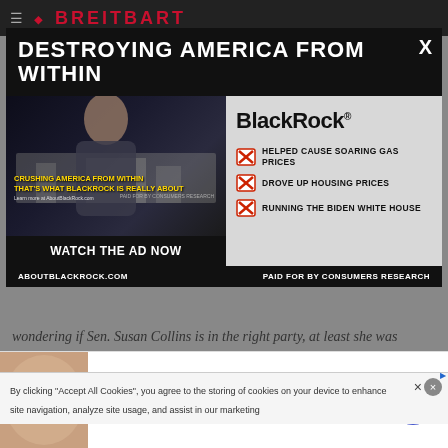BREITBART
DESTROYING AMERICA FROM WITHIN
[Figure (screenshot): Video thumbnail showing a man in a suit in front of a government building. Yellow text overlay reads: CRUSHING AMERICA FROM WITHIN THAT'S WHAT BLACKROCK IS REALLY ABOUT. Learn more at AboutBlackRock.com. PAID FOR BY CONSUMERS RESEARCH.]
WATCH THE AD NOW
BlackRock®
HELPED CAUSE SOARING GAS PRICES
DROVE UP HOUSING PRICES
RUNNING THE BIDEN WHITE HOUSE
ABOUTBLACKROCK.COM    PAID FOR BY CONSUMERS RESEARCH
wondering if Sen. Susan Collins is in the right party, at least she was consistent with her vote."
By clicking "Accept All Cookies", you agree to the storing of cookies on your device to enhance site navigation, analyze site usage, and assist in our marketing
#1 Skin Tag Remover 2022
Leaves No Trace of The Blemish Behind (Not Even Scarring)
naturalhealthcures.net